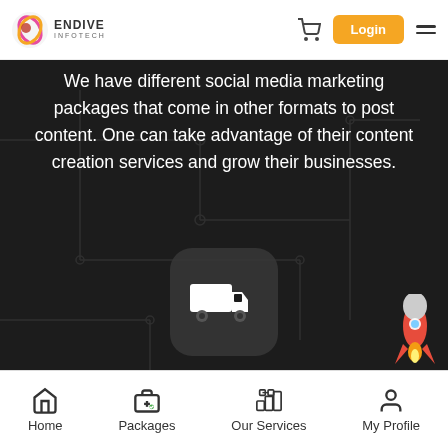[Figure (logo): Endive Infotech logo with circular icon and Login button, cart icon, and hamburger menu]
We have different social media marketing packages that come in other formats to post content. One can take advantage of their content creation services and grow their businesses.
[Figure (illustration): Delivery truck icon inside a dark rounded square]
Monitor Success
We are social media marketing companies to help you monitor your
[Figure (illustration): Rocket emoji in bottom right corner]
Home | Packages | Our Services | My Profile